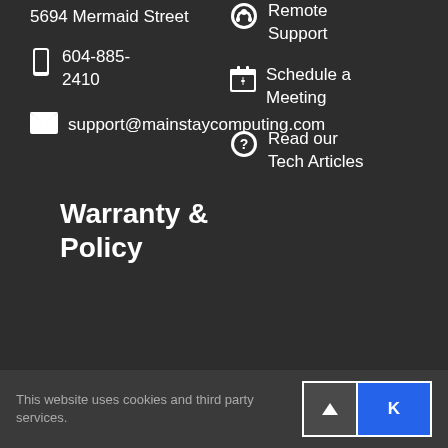5694 Mermaid Street
604-885-2410
support@mainstaycomputing.com
Remote Support
Schedule a Meeting
Read our Tech Articles
Warranty & Policy
This website uses cookies and third party services.